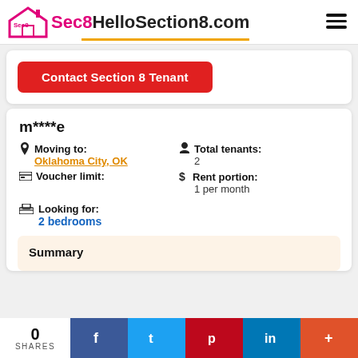Sec8 HelloSection8.com
Contact Section 8 Tenant
m****e
Moving to: Oklahoma City, OK
Total tenants: 2
Voucher limit:
Rent portion: 1 per month
Looking for: 2 bedrooms
Summary
0 SHARES  f  t  p  in  +